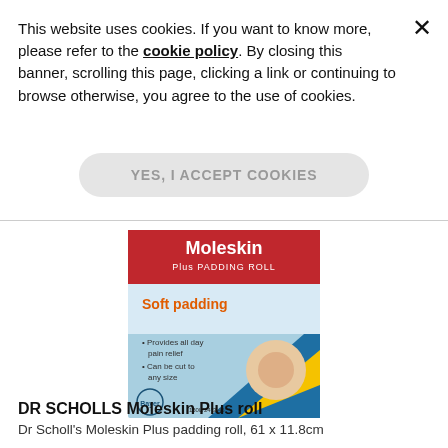This website uses cookies. If you want to know more, please refer to the cookie policy. By closing this banner, scrolling this page, clicking a link or continuing to browse otherwise, you agree to the use of cookies.
YES, I ACCEPT COOKIES
[Figure (photo): Product image of DR SCHOLLS Moleskin Plus Padding Roll packaging — blue box with red header reading 'Moleskin Plus PADDING ROLL', yellow text 'Soft padding', bullet points listing features, Bayer logo at bottom left]
DR SCHOLLS Moleskin Plus roll
Dr Scholl's Moleskin Plus padding roll, 61 x 11.8cm